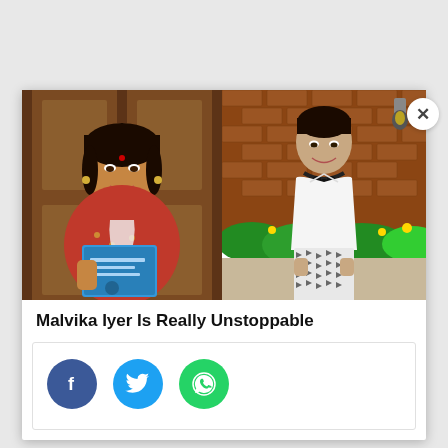[Figure (photo): Two-panel photo collage: left panel shows a young Indian woman in a red traditional outfit holding a blue book/document, smiling; right panel shows the same woman in a white halter top and black-and-white patterned wide-leg pants standing in front of a brick wall with greenery.]
Malvika Iyer Is Really Unstoppable
[Figure (infographic): Social media share buttons: Facebook (blue circle with f), Twitter (blue circle with bird), WhatsApp (green circle with phone/message icon)]